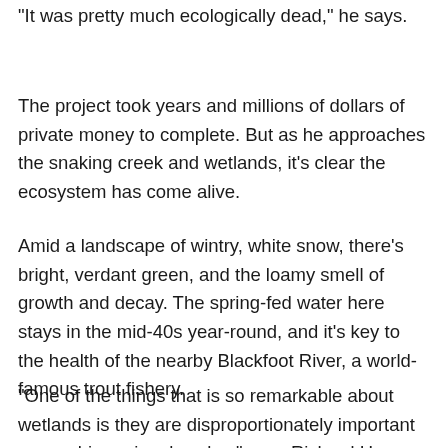"It was pretty much ecologically dead," he says.
The project took years and millions of dollars of private money to complete. But as he approaches the snaking creek and wetlands, it's clear the ecosystem has come alive.
Amid a landscape of wintry, white snow, there’s bright, verdant green, and the loamy smell of growth and decay. The spring-fed water here stays in the mid-40s year-round, and it’s key to the health of the nearby Blackfoot River, a world-famous trout fishery.
“One of the things that is so remarkable about wetlands is they are disproportionately important across big regional scales,” says Richard Hauer